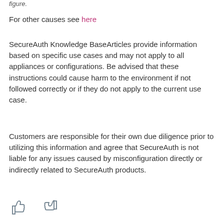figure.
For other causes see here
SecureAuth Knowledge BaseArticles provide information based on specific use cases and may not apply to all appliances or configurations. Be advised that these instructions could cause harm to the environment if not followed correctly or if they do not apply to the current use case.
Customers are responsible for their own due diligence prior to utilizing this information and agree that SecureAuth is not liable for any issues caused by misconfiguration directly or indirectly related to SecureAuth products.
[Figure (illustration): Thumbs up and thumbs down feedback icons]